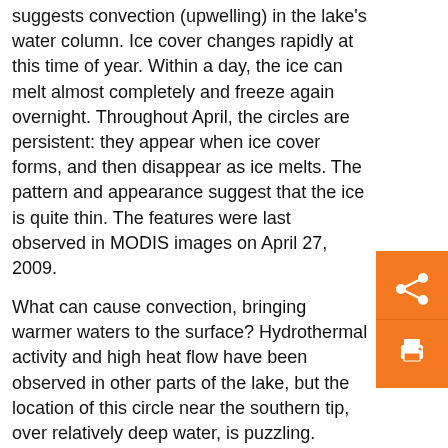suggests convection (upwelling) in the lake's water column. Ice cover changes rapidly at this time of year. Within a day, the ice can melt almost completely and freeze again overnight. Throughout April, the circles are persistent: they appear when ice cover forms, and then disappear as ice melts. The pattern and appearance suggest that the ice is quite thin. The features were last observed in MODIS images on April 27, 2009.
What can cause convection, bringing warmer waters to the surface? Hydrothermal activity and high heat flow have been observed in other parts of the lake, but the location of this circle near the southern tip, over relatively deep water, is puzzling.
Lake Baikal is unique in many regards. It is the largest (by volume) and deepest (1,637 meters at the deepest point) fresh water lake on Earth. It is also one of the world's oldest lakes (25-30 million years old); sediment deposited on the bottom is up to 7 kilometers deep. The lake's long, thin, and deep shape results from its location in the Rift Valley.
As a United Nations World Heritage Site, Lake Baikal is considered one of Russia's environmental jewels. It is home to an amazing variety of plants and animals, many of them unique to the ecosystem. The lake's biodiversity includes fresh water seals and several species of